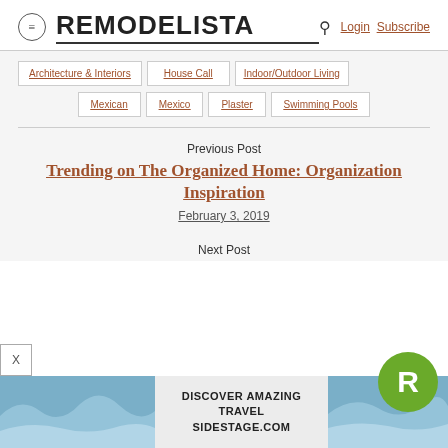REMODELISTA — Login Subscribe
Architecture & Interiors
House Call
Indoor/Outdoor Living
Mexican
Mexico
Plaster
Swimming Pools
Previous Post
Trending on The Organized Home: Organization Inspiration
February 3, 2019
Next Post
[Figure (screenshot): Advertisement banner for Alaska travel via sidestage.com, showing glacier images and text 'DISCOVER AMAZING TRAVEL SIDESTAGE.COM']